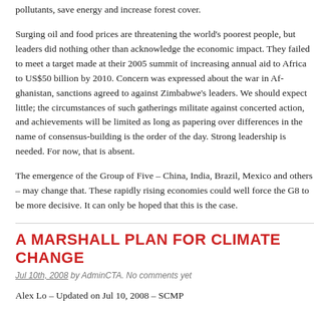pollutants, save energy and increase forest cover.
Surging oil and food prices are threatening the world's poorest people, but leaders did nothing other than acknowledge the economic impact. They failed to meet a target made at their 2005 summit of increasing annual aid to Africa to US$50 billion by 2010. Concern was expressed about the war in Afghanistan, sanctions agreed to against Zimbabwe's leaders. We should expect little; the circumstances of such gatherings militate against concerted action, and achievements will be limited as long as papering over differences in the name of consensus-building is the order of the day. Strong leadership is needed. For now, that is absent.
The emergence of the Group of Five – China, India, Brazil, Mexico and others – may change that. These rapidly rising economies could well force the G8 to be more decisive. It can only be hoped that this is the case.
A MARSHALL PLAN FOR CLIMATE CHANGE
Jul 10th, 2008 by AdminCTA. No comments yet
Alex Lo – Updated on Jul 10, 2008 – SCMP